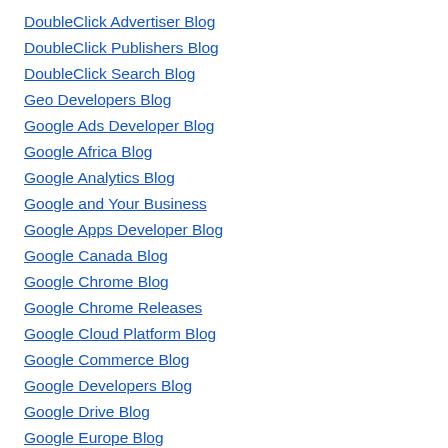DoubleClick Advertiser Blog
DoubleClick Publishers Blog
DoubleClick Search Blog
Geo Developers Blog
Google Ads Developer Blog
Google Africa Blog
Google Analytics Blog
Google and Your Business
Google Apps Developer Blog
Google Canada Blog
Google Chrome Blog
Google Chrome Releases
Google Cloud Platform Blog
Google Commerce Blog
Google Developers Blog
Google Drive Blog
Google Europe Blog
Google Fiber
Google for Education Blog